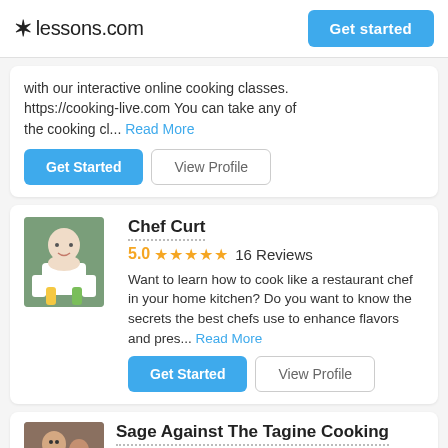lessons.com | Get started
with our interactive online cooking classes. https://cooking-live.com You can take any of the cooking cl... Read More
Get Started | View Profile
Chef Curt
5.0 ★★★★★ 16 Reviews
Want to learn how to cook like a restaurant chef in your home kitchen? Do you want to know the secrets the best chefs use to enhance flavors and pres... Read More
Get Started | View Profile
Sage Against The Tagine Cooking